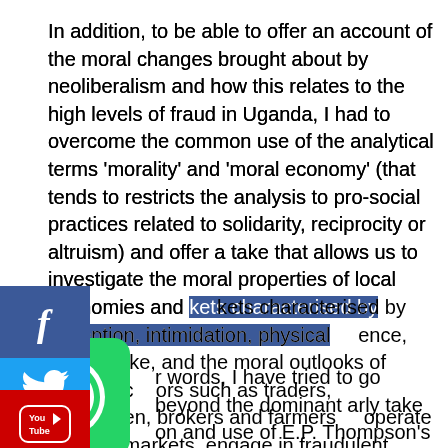In addition, to be able to offer an account of the moral changes brought about by neoliberalism and how this relates to the high levels of fraud in Uganda, I had to overcome the common use of the analytical terms 'morality' and 'moral economy' (that tends to restricts the analysis to pro-social practices related to solidarity, reciprocity or altruism) and offer a take that allows us to investigate the moral properties of local economies and [mar]kets characterised by deception, intimidation, physical viol[ence, and the like, and the moral outlooks of economic act]ors such as traders, middlemen, brokers and farmers [who] operate in these markets, engage in fraudulent or [an]d practice themselves etc.
[Figure (infographic): Social media share buttons: Facebook (blue), Twitter (light blue), YouTube (red) arranged vertically on the left side]
[Figure (logo): WhatsApp green rounded square icon with white phone handset logo]
[Othe]r words, I have tried to go beyond the dominant [schol]arly take on and use of E.P. Thompson's seminal